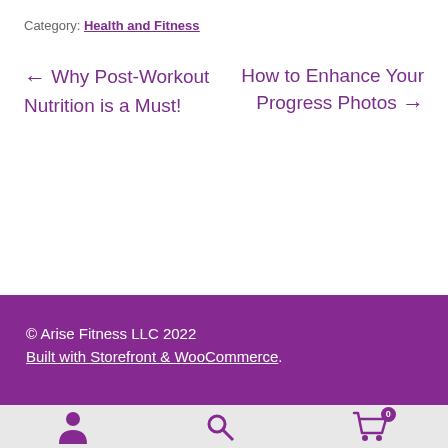Category: Health and Fitness
← Why Post-Workout Nutrition is a Must!
How to Enhance Your Progress Photos →
© Arise Fitness LLC 2022
Built with Storefront & WooCommerce.
[Figure (other): Bottom navigation bar with person/account icon, search icon, and shopping cart icon with badge showing 0]